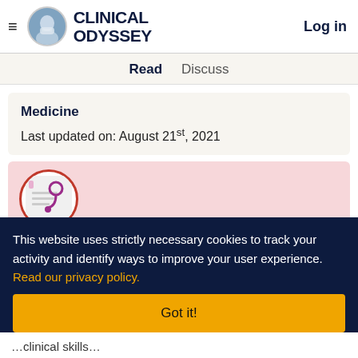Clinical Odyssey | Log in
Read   Discuss
Medicine
Last updated on: August 21st, 2021
[Figure (photo): Pink background with a circular image of a stethoscope on a notepad]
This website uses strictly necessary cookies to track your activity and identify ways to improve your user experience. Read our privacy policy.
Got it!
...clinical skills...